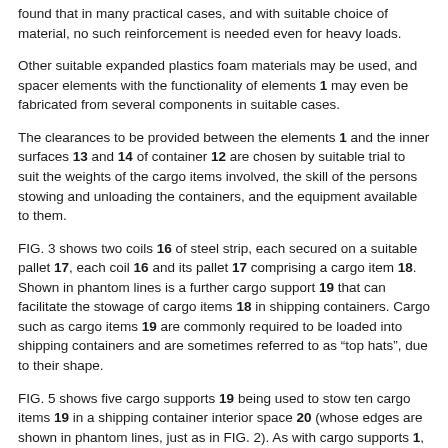found that in many practical cases, and with suitable choice of material, no such reinforcement is needed even for heavy loads.
Other suitable expanded plastics foam materials may be used, and spacer elements with the functionality of elements 1 may even be fabricated from several components in suitable cases.
The clearances to be provided between the elements 1 and the inner surfaces 13 and 14 of container 12 are chosen by suitable trial to suit the weights of the cargo items involved, the skill of the persons stowing and unloading the containers, and the equipment available to them.
FIG. 3 shows two coils 16 of steel strip, each secured on a suitable pallet 17, each coil 16 and its pallet 17 comprising a cargo item 18. Shown in phantom lines is a further cargo support 19 that can facilitate the stowage of cargo items 18 in shipping containers. Cargo such as cargo items 19 are commonly required to be loaded into shipping containers and are sometimes referred to as “top hats”, due to their shape.
FIG. 5 shows five cargo supports 19 being used to stow ten cargo items 19 in a shipping container interior space 20 (whose edges are shown in phantom lines, just as in FIG. 2). As with cargo supports 1, cargo supports 19 are sized and shaped so as to fit snugly (i.e. with clearances small enough to sufficiently limit load movement under likely ship motions and large enough for easy loading and unloading) between inner side surfaces